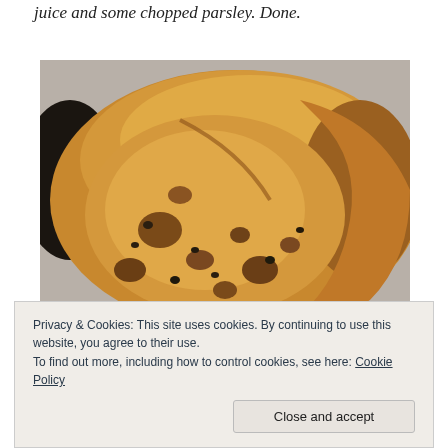juice and some chopped parsley.  Done.
[Figure (photo): Close-up photo of a rustic sourdough or olive bread loaf, showing a golden-brown crust and open crumb with holes and dark olive pieces visible inside.]
Privacy & Cookies: This site uses cookies. By continuing to use this website, you agree to their use.
To find out more, including how to control cookies, see here: Cookie Policy

Close and accept